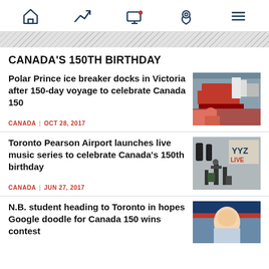Navigation bar with home, trending, TV/notifications, location, and menu icons
[Figure (infographic): Diagonal grey stripe banner]
CANADA'S 150TH BIRTHDAY
Polar Prince ice breaker docks in Victoria after 150-day voyage to celebrate Canada 150
CANADA | OCT 28, 2017
[Figure (photo): Red and white ship docked with a person in orange life jacket in foreground, city skyline in background]
Toronto Pearson Airport launches live music series to celebrate Canada's 150th birthday
CANADA | JUN 27, 2017
[Figure (photo): Live music performance at YYZ LIVE event at Toronto Pearson Airport]
N.B. student heading to Toronto in hopes Google doodle for Canada 150 wins contest
[Figure (photo): Young person smiling, partial view]